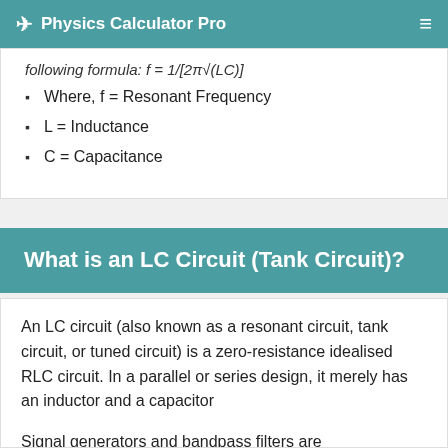Physics Calculator Pro
following formula: f = 1/[2π√(LC)]
Where, f = Resonant Frequency
L = Inductance
C = Capacitance
What is an LC Circuit (Tank Circuit)?
An LC circuit (also known as a resonant circuit, tank circuit, or tuned circuit) is a zero-resistance idealised RLC circuit. In a parallel or series design, it merely has an inductor and a capacitor
Signal generators and bandpass filters are